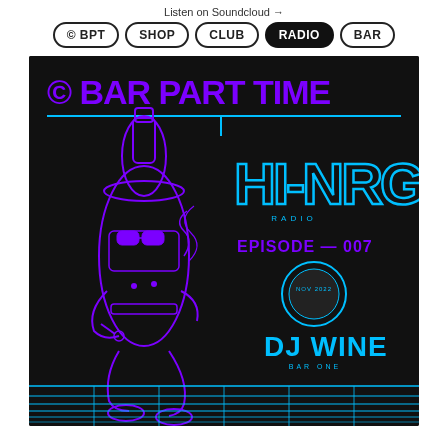Listen on Soundcloud →
© BPT
SHOP
CLUB
RADIO
BAR
[Figure (illustration): Dark background promotional artwork for Bar Part Time radio show. Features a cartoon wine bottle character wearing sunglasses and smoking, drawn in purple outline. Large text reads '© BAR PART TIME' in purple at top. 'HI-NRG' in cyan outlined block letters. 'RADIO' in small cyan caps. 'EPISODE - 007' in purple bold. A circular badge/stamp. 'DJ WINE' in large cyan text. Small text 'BAR ONE' below. Horizontal cyan lines at the bottom forming a decorative grid pattern.]